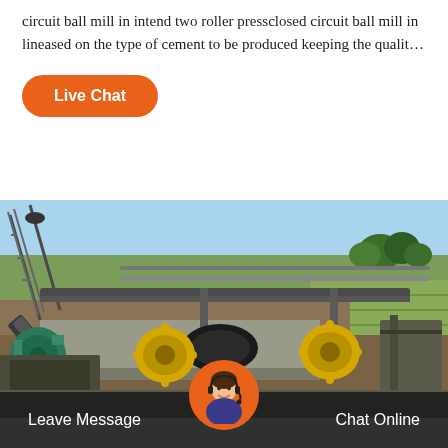circuit ball mill in intend two roller pressclosed circuit ball mill in lineased on the type of cement to be produced keeping the qualit…
Live Chat
[Figure (photo): Industrial mining/cement machinery with conveyor belts, large rollers (green, yellow, and black), metal framework and piping, set against a hillside landscape with trees and sky in background.]
Leave Message
Chat Online